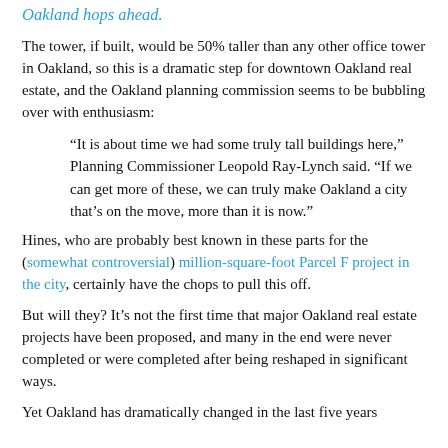Oakland hops ahead.
The tower, if built, would be 50% taller than any other office tower in Oakland, so this is a dramatic step for downtown Oakland real estate, and the Oakland planning commission seems to be bubbling over with enthusiasm:
“It is about time we had some truly tall buildings here,” Planning Commissioner Leopold Ray-Lynch said. “If we can get more of these, we can truly make Oakland a city that’s on the move, more than it is now.”
Hines, who are probably best known in these parts for the (somewhat controversial) million-square-foot Parcel F project in the city, certainly have the chops to pull this off.
But will they? It’s not the first time that major Oakland real estate projects have been proposed, and many in the end were never completed or were completed after being reshaped in significant ways.
Yet Oakland has dramatically changed in the last five years